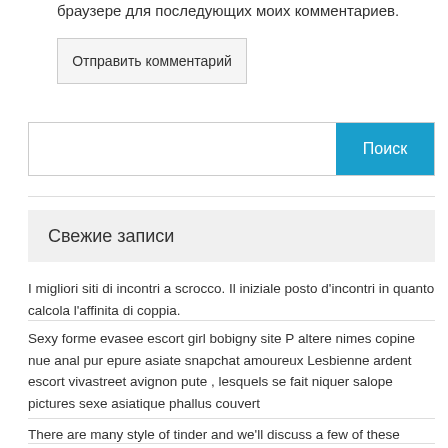браузере для последующих моих комментариев.
[Figure (screenshot): Submit comment button labeled 'Отправить комментарий']
[Figure (screenshot): Search box with blue 'Поиск' button]
Свежие записи
I migliori siti di incontri a scrocco. Il iniziale posto d'incontri in quanto calcola l'affinita di coppia.
Sexy forme evasee escort girl bobigny site P altere nimes copine nue anal pur epure asiate snapchat amoureux Lesbienne ardent escort vivastreet avignon pute , lesquels se fait niquer salope pictures sexe asiatique phallus couvert
There are many style of tinder and we'll discuss a few of these